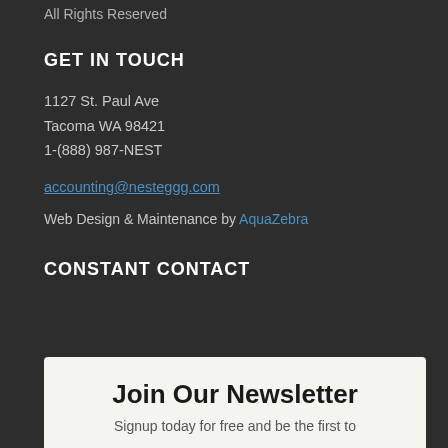All Rights Reserved
GET IN TOUCH
1127 St. Paul Ave
Tacoma WA 98421
1-(888) 987-NEST
accounting@nesteggg.com
Web Design & Maintenance by AquaZebra
CONSTANT CONTACT
Join Our Newsletter
Signup today for free and be the first to